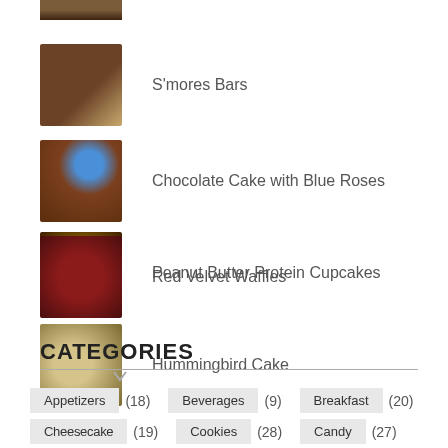[Figure (photo): Partial food photo at top (cropped)]
S'mores Bars
Chocolate Cake with Blue Roses
Peanut Butter Protein Cupcakes
Hummingbird Cake
Red Velvet Waffles
CATEGORIES
Appetizers (18)  Beverages (9)  Breakfast (20)
Cheesecake (19)  Cookies (28)  Candy (27)